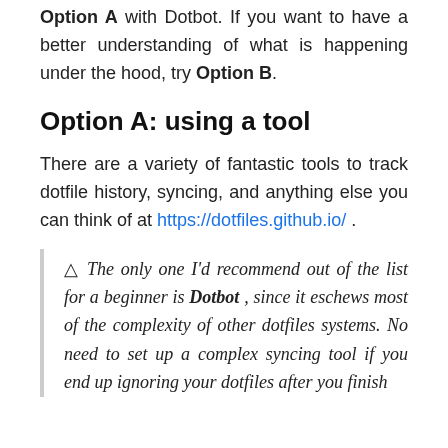Option A with Dotbot. If you want to have a better understanding of what is happening under the hood, try Option B.
Option A: using a tool
There are a variety of fantastic tools to track dotfile history, syncing, and anything else you can think of at https://dotfiles.github.io/ .
⚠ The only one I'd recommend out of the list for a beginner is Dotbot , since it eschews most of the complexity of other dotfiles systems. No need to set up a complex syncing tool if you end up ignoring your dotfiles after you finish